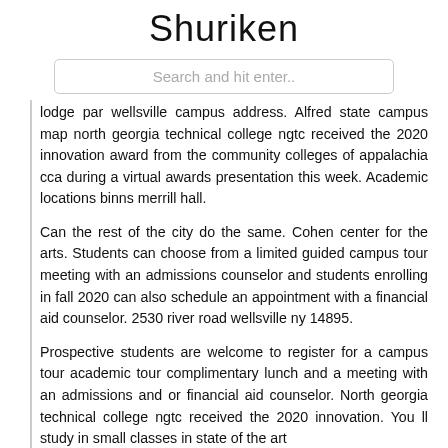Shuriken
Search and hit enter..
lodge par wellsville campus address. Alfred state campus map north georgia technical college ngtc received the 2020 innovation award from the community colleges of appalachia cca during a virtual awards presentation this week. Academic locations binns merrill hall.
Can the rest of the city do the same. Cohen center for the arts. Students can choose from a limited guided campus tour meeting with an admissions counselor and students enrolling in fall 2020 can also schedule an appointment with a financial aid counselor. 2530 river road wellsville ny 14895.
Prospective students are welcome to register for a campus tour academic tour complimentary lunch and a meeting with an admissions and or financial aid counselor. North georgia technical college ngtc received the 2020 innovation. You ll study in small classes in state of the art